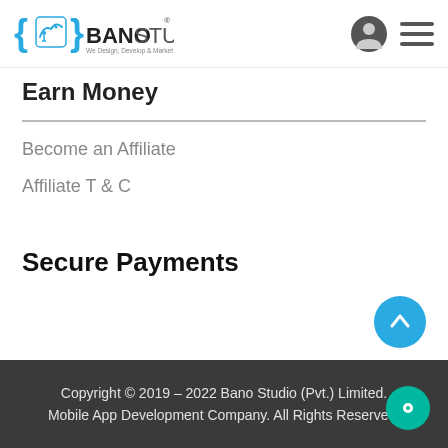Bano Studio - We Design, Develop & Market
Earn Money
Become an Affiliate
Affiliate T & C
Secure Payments
Copyright © 2019 – 2022 Bano Studio (Pvt.) Limited. Mobile App Development Company. All Rights Reserved.